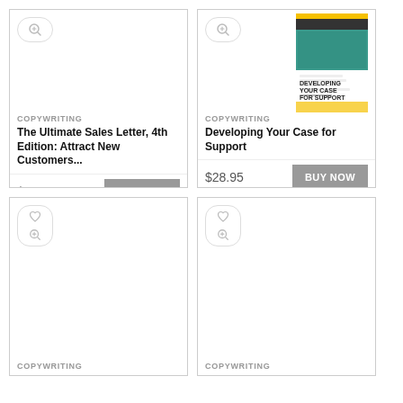[Figure (screenshot): Book product card: The Ultimate Sales Letter, 4th Edition with zoom icon, category COPYWRITING, title, price $12.59, BUY NOW button]
[Figure (screenshot): Book product card: Developing Your Case for Support with book cover image, zoom icon, category COPYWRITING, title, price $28.95, BUY NOW button]
[Figure (screenshot): Book product card (bottom left): empty cover with heart and zoom icons, category COPYWRITING]
[Figure (screenshot): Book product card (bottom right): empty cover with heart and zoom icons, category COPYWRITING]